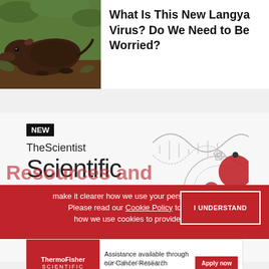[Figure (photo): Small brown shrew or mole animal on soil/leaf litter, viewed from above]
What Is This New Langya Virus? Do We Need to Be Worried?
[Figure (illustration): TheScientist Scientific Services advertisement with NEW badge, DNA helix and gear/molecule illustration]
make it clearer how we use your personal data. Please read our Cookie Policy to learn how we use cookies to provide you
I UNDERSTAND
[Figure (logo): Thermo Fisher Scientific advertisement: Assistance available through our Cancer Research Foundation. Apply now button.]